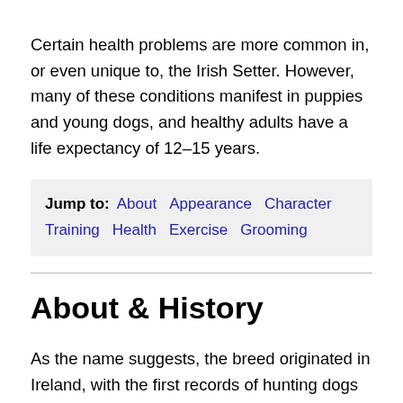Certain health problems are more common in, or even unique to, the Irish Setter. However, many of these conditions manifest in puppies and young dogs, and healthy adults have a life expectancy of 12–15 years.
Jump to: About  Appearance  Character  Training  Health  Exercise  Grooming
About & History
As the name suggests, the breed originated in Ireland, with the first records of hunting dogs displaying setter-type characteristics dating back to the late 1500s. However, it is